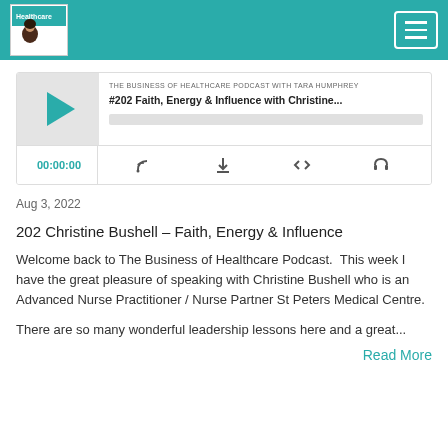The Business of Healthcare Podcast with Tara Humphrey — navigation header
[Figure (screenshot): Podcast player widget showing episode #202 Faith, Energy & Influence with Christine... at 00:00:00 with playback controls]
Aug 3, 2022
202 Christine Bushell – Faith, Energy & Influence
Welcome back to The Business of Healthcare Podcast. This week I have the great pleasure of speaking with Christine Bushell who is an Advanced Nurse Practitioner / Nurse Partner St Peters Medical Centre.
There are so many wonderful leadership lessons here and a great...
Read More